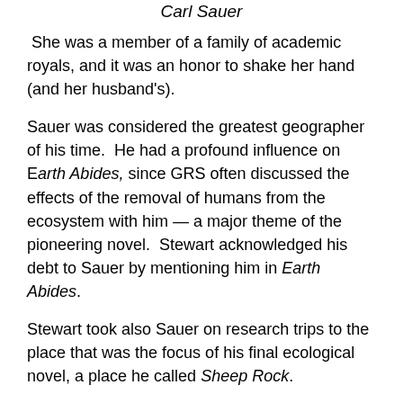Carl Sauer
She was a member of a family of academic royals, and it was an honor to shake her hand (and her husband's).
Sauer was considered the greatest geographer of his time.  He had a profound influence on Earth Abides, since GRS often discussed the effects of the removal of humans from the ecosystem with him — a major theme of the pioneering novel.  Stewart acknowledged his debt to Sauer by mentioning him in Earth Abides.
Stewart took also Sauer on research trips to the place that was the focus of his final ecological novel, a place he called Sheep Rock.
At the end of the novel, Stewart steps out of the text to explain how he did the research: